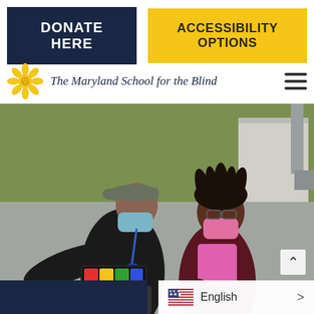[Figure (screenshot): DONATE HERE button (dark navy background, white bold text)]
[Figure (screenshot): ACCESSIBILITY OPTIONS button (golden yellow background, dark bold text)]
[Figure (logo): Maryland School for the Blind sunflower logo with italic school name text]
[Figure (photo): Photograph of a masked teacher/aide and a masked student outdoors on a paved surface. The adult (wearing a black jacket, grey cap, and blue lanyard) is showing the student something on a colorful communication device/case. The student has dreadlocks and is wearing a dark maroon hoodie and pink shirt. Background shows grass and a building. Both are wearing face masks.]
English